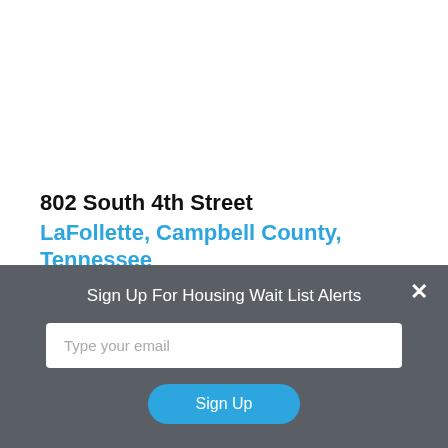802 South 4th Street
LaFollette, Campbell County, Tennessee
37766
LaFollette Housing Authority is a housing authority that
Sign Up For Housing Wait List Alerts
Type your email
Sign Up